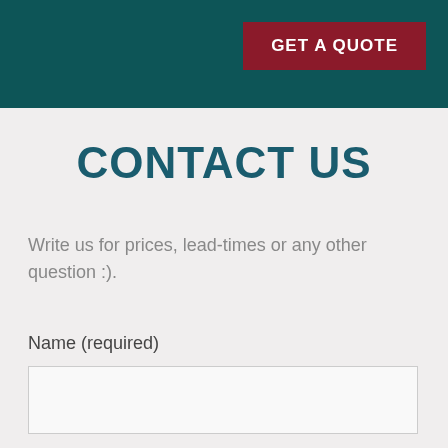GET A QUOTE
CONTACT US
Write us for prices, lead-times or any other question :).
Name (required)